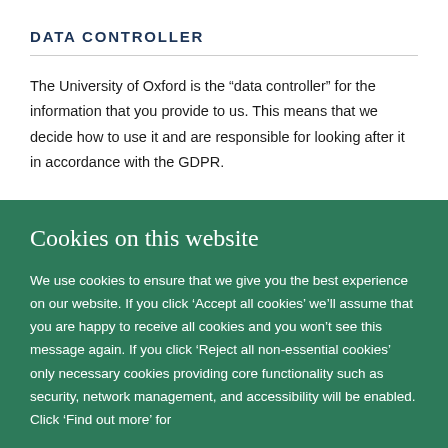DATA CONTROLLER
The University of Oxford is the “data controller” for the information that you provide to us. This means that we decide how to use it and are responsible for looking after it in accordance with the GDPR.
DATA PROTECTION OFFICER
Cookies on this website
We use cookies to ensure that we give you the best experience on our website. If you click ‘Accept all cookies’ we’ll assume that you are happy to receive all cookies and you won’t see this message again. If you click ‘Reject all non-essential cookies’ only necessary cookies providing core functionality such as security, network management, and accessibility will be enabled. Click ‘Find out more’ for